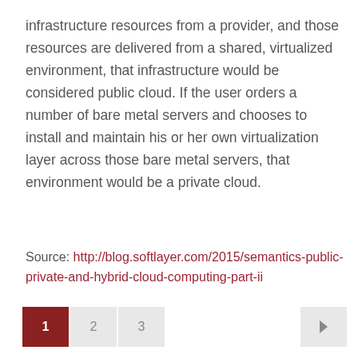infrastructure resources from a provider, and those resources are delivered from a shared, virtualized environment, that infrastructure would be considered public cloud. If the user orders a number of bare metal servers and chooses to install and maintain his or her own virtualization layer across those bare metal servers, that environment would be a private cloud.
Source: http://blog.softlayer.com/2015/semantics-public-private-and-hybrid-cloud-computing-part-ii
1 2 3 ▶